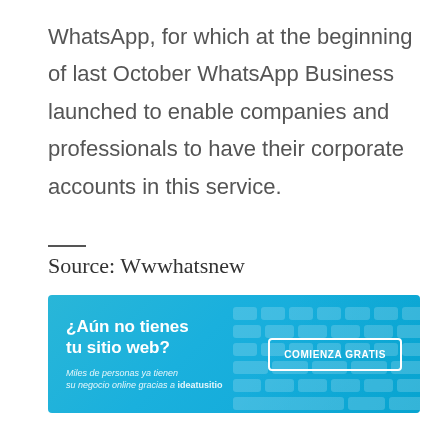WhatsApp, for which at the beginning of last October WhatsApp Business launched to enable companies and professionals to have their corporate accounts in this service.
Source: Wwwhatsnew
[Figure (infographic): Advertisement banner in Spanish: '¿Aún no tienes tu sitio web?' with a 'COMIENZA GRATIS' button. Subtext: 'Miles de personas ya tienen su negocio online gracias a ideatusitio'. Blue background with keyboard graphic.]